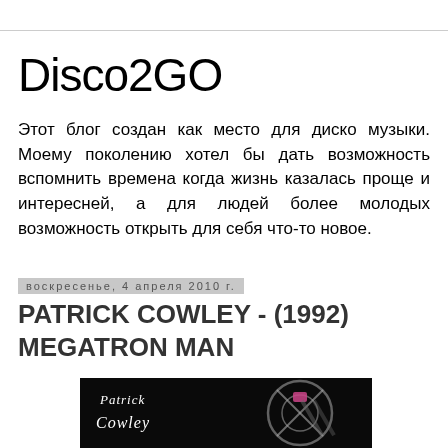Disco2GO
Этот блог создан как место для диско музыки. Моему поколению хотел бы дать возможность вспомнить времена когда жизнь казалась проще и интересней, а для людей более молодых возможность открыть для себя что-то новое.
воскресенье, 4 апреля 2010 г.
PATRICK COWLEY - (1992) MEGATRON MAN
[Figure (photo): Album cover for Patrick Cowley Megatron Man showing the artist name in stylized script on a dark background with a circular graphic design]